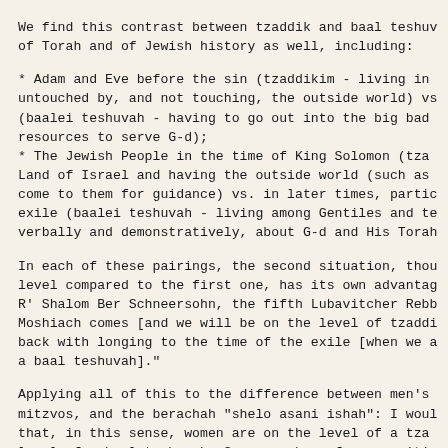We find this contrast between tzaddik and baal teshuv of Torah and of Jewish history as well, including:
* Adam and Eve before the sin (tzaddikim - living in untouched by, and not touching, the outside world) vs (baalei teshuvah - having to go out into the big bad resources to serve G-d);
* The Jewish People in the time of King Solomon (tza Land of Israel and having the outside world (such as come to them for guidance) vs. in later times, partic exile (baalei teshuvah - living among Gentiles and te verbally and demonstratively, about G-d and His Torah
In each of these pairings, the second situation, thou level compared to the first one, has its own advantag R' Shalom Ber Schneersohn, the fifth Lubavitcher Rebb Moshiach comes [and we will be on the level of tzaddi back with longing to the time of the exile [when we a a baal teshuvah]."
Applying all of this to the difference between men's mitzvos, and the berachah "shelo asani ishah": I woul that, in this sense, women are on the level of a tza level of a baal teshuvah. So women have fewer positiv their job is not so much to elevate the material worl rather to influence it from above, like Adam and Eve like the tzaddik, they are created "kirtzono" - in st with G-d's standard operating plan. Whereas men wh